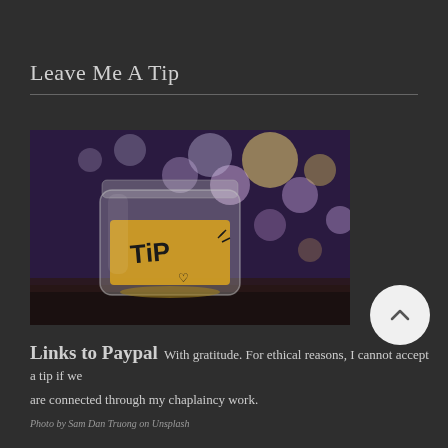Leave Me A Tip
[Figure (photo): A glass tip jar with coins inside, featuring a yellow label that reads 'TiP' with a small heart, set against a blurred bokeh background of purple, pink and yellow lights.]
Links to Paypal With gratitude. For ethical reasons, I cannot accept a tip if we are connected through my chaplaincy work.
Photo by Sam Dan Truong on Unsplash